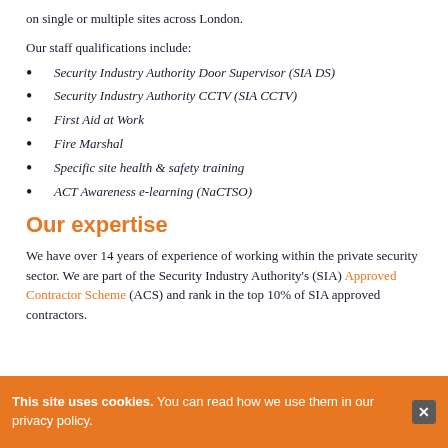on single or multiple sites across London.
Our staff qualifications include:
Security Industry Authority Door Supervisor (SIA DS)
Security Industry Authority CCTV (SIA CCTV)
First Aid at Work
Fire Marshal
Specific site health & safety training
ACT Awareness e-learning (NaCTSO)
Our expertise
We have over 14 years of experience of working within the private security sector. We are part of the Security Industry Authority's (SIA) Approved Contractor Scheme (ACS) and rank in the top 10% of SIA approved contractors.
This site uses cookies. You can read how we use them in our privacy policy.